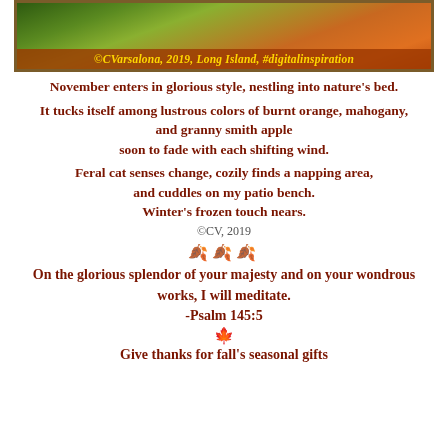[Figure (photo): Autumn foliage photo with orange and green tones, framed with decorative border. Caption reads: ©CVarsalona, 2019, Long Island, #digitalinspiration]
November enters in glorious style, nestling into nature's bed.
It tucks itself among lustrous colors of burnt orange, mahogany, and granny smith apple
soon to fade with each shifting wind.
Feral cat senses change, cozily finds a napping area,
and cuddles on my patio bench.
Winter's frozen touch nears.
©CV, 2019
🍂🍂🍂
On the glorious splendor of your majesty and on your wondrous works, I will meditate.
-Psalm 145:5
🍁
Give thanks for fall's seasonal gifts